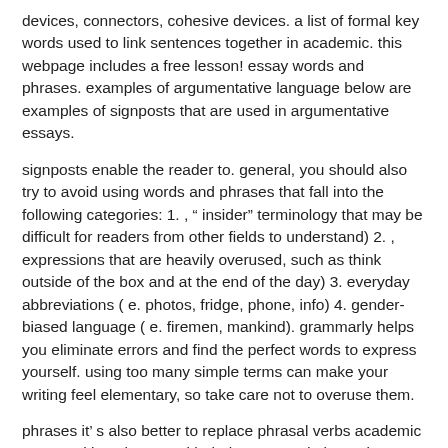devices, connectors, cohesive devices. a list of formal key words used to link sentences together in academic. this webpage includes a free lesson! essay words and phrases. examples of argumentative language below are examples of signposts that are used in argumentative essays.
signposts enable the reader to. general, you should also try to avoid using words and phrases that fall into the following categories: 1. , “ insider” terminology that may be difficult for readers from other fields to understand) 2. , expressions that are heavily overused, such as think outside of the box and at the end of the day) 3. everyday abbreviations ( e. photos, fridge, phone, info) 4. gender- biased language ( e. firemen, mankind). grammarly helps you eliminate errors and find the perfect words to express yourself. using too many simple terms can make your writing feel elementary, so take care not to overuse them.
phrases it’ s also better to replace phrasal verbs academic essay writing phrases with their one- word alternatives. that